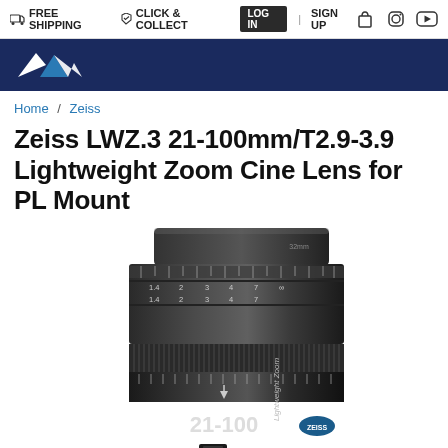FREE SHIPPING  CLICK & COLLECT  LOG IN | SIGN UP
[Figure (logo): Dark blue banner with white mountain/peak logo mark (Zeiss retailer logo)]
Home / Zeiss
Zeiss LWZ.3 21-100mm/T2.9-3.9 Lightweight Zoom Cine Lens for PL Mount
[Figure (photo): Photo of a Zeiss LWZ.3 21-100mm cinema lens in dark grey/black, showing the focus ring, zoom ring with markings '21-100', and the Zeiss brand badge, viewed from a slight angle.]